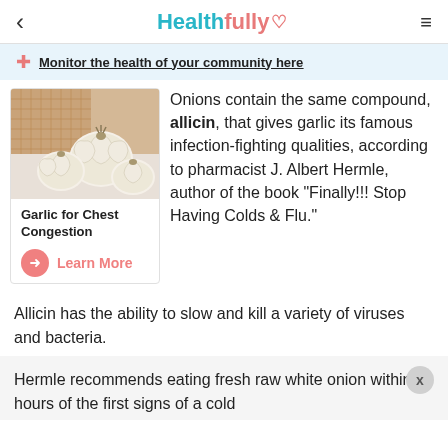< Healthfully ♡ ≡
Monitor the health of your community here
[Figure (photo): Photo of white garlic bulbs on a light background with a woven mat]
Garlic for Chest Congestion
Learn More
Onions contain the same compound, allicin, that gives garlic its famous infection-fighting qualities, according to pharmacist J. Albert Hermle, author of the book "Finally!!! Stop Having Colds & Flu."
Allicin has the ability to slow and kill a variety of viruses and bacteria.
Hermle recommends eating fresh raw white onion within 4 hours of the first signs of a cold